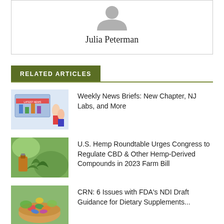[Figure (photo): Gray placeholder avatar icon showing silhouette of a person]
Julia Peterman
RELATED ARTICLES
[Figure (illustration): Illustration of people reading latest news on a large screen with charts]
Weekly News Briefs: New Chapter, NJ Labs, and More
[Figure (photo): Photo of hemp plant and amber oil bottle outdoors]
U.S. Hemp Roundtable Urges Congress to Regulate CBD & Other Hemp-Derived Compounds in 2023 Farm Bill
[Figure (photo): Photo of dietary supplement capsules and vegetables in a bowl]
CRN: 6 Issues with FDA's NDI Draft Guidance for Dietary Supplements...